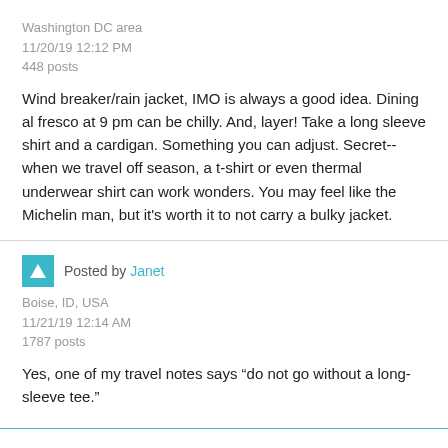Washington DC area
11/20/19 12:12 PM
448 posts
Wind breaker/rain jacket, IMO is always a good idea. Dining al fresco at 9 pm can be chilly. And, layer! Take a long sleeve shirt and a cardigan. Something you can adjust. Secret--when we travel off season, a t-shirt or even thermal underwear shirt can work wonders. You may feel like the Michelin man, but it's worth it to not carry a bulky jacket.
Posted by Janet
Boise, ID, USA
11/21/19 12:14 AM
1787 posts
Yes, one of my travel notes says “do not go without a long-sleeve tee.”